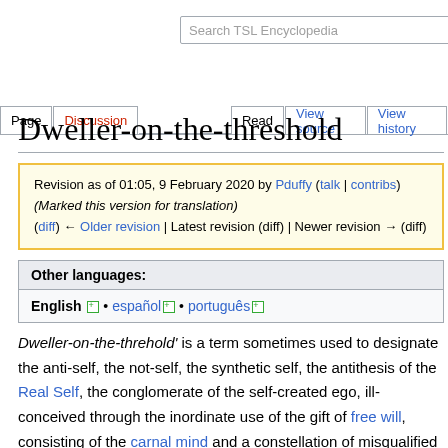Search TSL Encyclopedia
Page | Discussion | Read | View source | View history
Dweller-on-the-threshold
Revision as of 01:05, 9 February 2020 by Pduffy (talk | contribs) (Marked this version for translation) (diff) ← Older revision | Latest revision (diff) | Newer revision → (diff)
Other languages: English • español • português
Dweller-on-the-threhold' is a term sometimes used to designate the anti-self, the not-self, the synthetic self, the antithesis of the Real Self, the conglomerate of the self-created ego, ill-conceived through the inordinate use of the gift of free will, consisting of the carnal mind and a constellation of misqualified energies, forcefields, focuses, animal magnetism comprising the